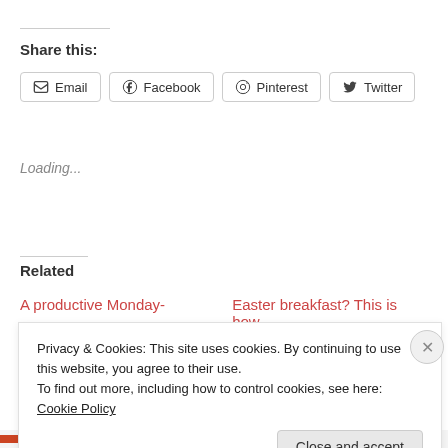Share this:
Email  Facebook  Pinterest  Twitter
Loading...
Related
A productive Monday-
Easter breakfast? This is how
Privacy & Cookies: This site uses cookies. By continuing to use this website, you agree to their use.
To find out more, including how to control cookies, see here: Cookie Policy
Close and accept